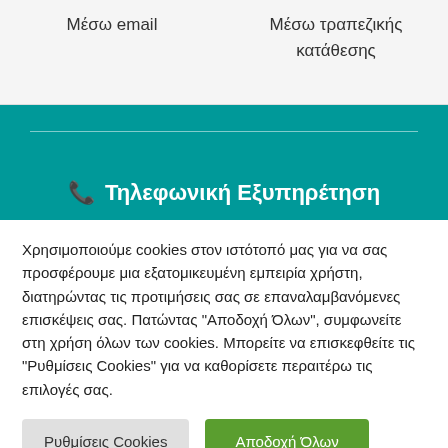Μέσω email
Μέσω τραπεζικής κατάθεσης
📞 Τηλεφωνική Εξυπηρέτηση
Χρησιμοποιούμε cookies στον ιστότοπό μας για να σας προσφέρουμε μια εξατομικευμένη εμπειρία χρήστη, διατηρώντας τις προτιμήσεις σας σε επαναλαμβανόμενες επισκέψεις σας. Πατώντας "Αποδοχή Όλων", συμφωνείτε στη χρήση όλων των cookies. Μπορείτε να επισκεφθείτε τις "Ρυθμίσεις Cookies" για να καθορίσετε περαιτέρω τις επιλογές σας.
Ρυθμίσεις Cookies
Αποδοχή Όλων